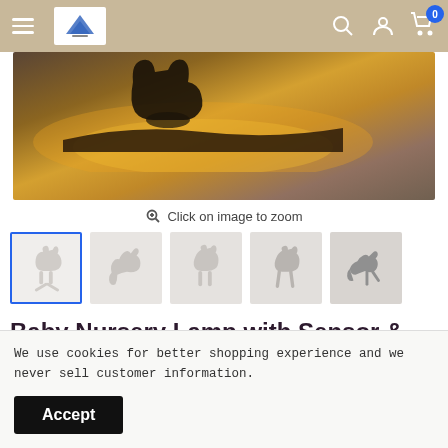Navigation bar with hamburger menu, logo, search, account, and cart icons
[Figure (photo): Product main image showing a cat-shaped LED night light with warm yellow glow against a dark background, mounted on a wall]
Click on image to zoom
[Figure (photo): Thumbnail 1 (active/selected): cat raising paw silhouette night light, white/cream colored]
[Figure (photo): Thumbnail 2: stretching cat silhouette night light]
[Figure (photo): Thumbnail 3: sitting cat silhouette night light]
[Figure (photo): Thumbnail 4: sitting cat silhouette night light variant]
[Figure (photo): Thumbnail 5: walking cat silhouette night light, darker gray]
Baby Nursery Lamp with Sensor & Voice Sensor Cute Cat LED Night Light
We use cookies for better shopping experience and we never sell customer information.
Accept